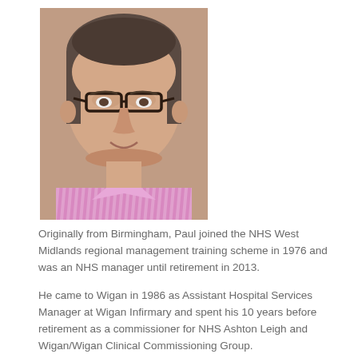[Figure (photo): Portrait photo of a middle-aged man with short dark hair and glasses, wearing a pink/purple striped shirt, smiling slightly at the camera.]
Originally from Birmingham, Paul joined the NHS West Midlands regional management training scheme in 1976 and was an NHS manager until retirement in 2013.
He came to Wigan in 1986 as Assistant Hospital Services Manager at Wigan Infirmary and spent his 10 years before retirement as a commissioner for NHS Ashton Leigh and Wigan/Wigan Clinical Commissioning Group.
Throughout his career Paul had an abiding interest in